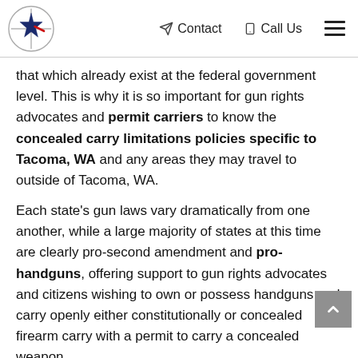Contact | Call Us
that which already exist at the federal government level. This is why it is so important for gun rights advocates and permit carriers to know the concealed carry limitations policies specific to Tacoma, WA and any areas they may travel to outside of Tacoma, WA.
Each state's gun laws vary dramatically from one another, while a large majority of states at this time are clearly pro-second amendment and pro-handguns, offering support to gun rights advocates and citizens wishing to own or possess handguns and carry openly either constitutionally or concealed firearm carry with a permit to carry a concealed weapon.
In most states, gun laws are fairly straightforward there are exceptions with states such as California